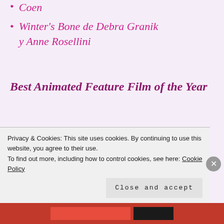Coen
Winter's Bone de Debra Granik y Anne Rosellini
Best Animated Feature Film of the Year
How to Train Your Dragon de Dean DeBlois y Chris Sanders
L'illusionniste de Sylvain Chomet
Toy Story 3 de Lee Unkrich
Privacy & Cookies: This site uses cookies. By continuing to use this website, you agree to their use. To find out more, including how to control cookies, see here: Cookie Policy
Close and accept